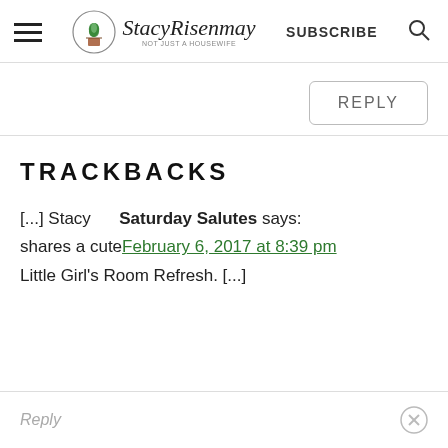StacyRisenmay — Not Just a Housewife — SUBSCRIBE
REPLY
TRACKBACKS
[...] Stacy   Saturday Salutes says: shares a cute February 6, 2017 at 8:39 pm Little Girl's Room Refresh. [...]
Reply